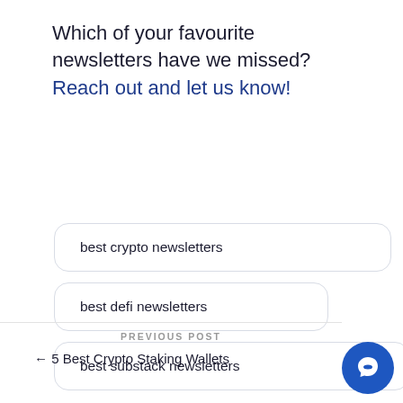Which of your favourite newsletters have we missed? Reach out and let us know!
best crypto newsletters
best defi newsletters
best substack newsletters
crypto newsletters
PREVIOUS POST
5 Best Crypto Staking Wallets